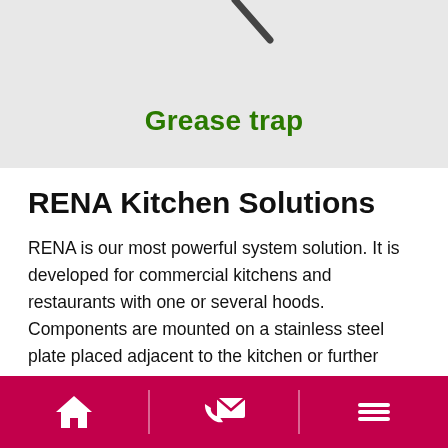[Figure (illustration): Gray background section showing partial view of a grease trap component with a diagonal dark line/rod visible at top center]
Grease trap
RENA Kitchen Solutions
RENA is our most powerful system solution. It is developed for commercial kitchens and restaurants with one or several hoods. Components are mounted on a stainless steel plate placed adjacent to the kitchen or further away in another room.
[home icon] [contact icon] [menu icon]